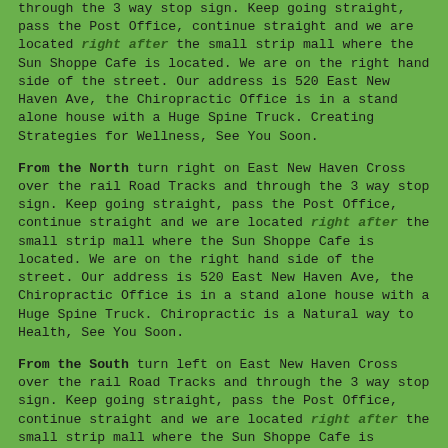through the 3 way stop sign. Keep going straight, pass the Post Office, continue straight and we are located right after the small strip mall where the Sun Shoppe Cafe is located. We are on the right hand side of the street. Our address is 520 East New Haven Ave, the Chiropractic Office is in a stand alone house with a Huge Spine Truck. Creating Strategies for Wellness, See You Soon.
From the North turn right on East New Haven Cross over the rail Road Tracks and through the 3 way stop sign. Keep going straight, pass the Post Office, continue straight and we are located right after the small strip mall where the Sun Shoppe Cafe is located. We are on the right hand side of the street. Our address is 520 East New Haven Ave, the Chiropractic Office is in a stand alone house with a Huge Spine Truck. Chiropractic is a Natural way to Health, See You Soon.
From the South turn left on East New Haven Cross over the rail Road Tracks and through the 3 way stop sign. Keep going straight, pass the Post Office, continue straight and we are located right after the small strip mall where the Sun Shoppe Cafe is located. We are on the right hand side of the street. Our address is 520 East New Haven Ave, the Chiropractic Office is in a stand alone house with a Huge Spine Truck. Be well, see you soon.
From 95 Take the Melbourne Exit 180 (Hwy 192). Head East towards the beaches. This will lead you past the Melbourne Square Mall. Once you cross Babcock Road, which will be a major intersection, bare to the right side of the road and take the right fork. This is East New Haven Ave. We are located on the left hand side of the street passed the Florida Eye Associates. Our address is 520 East New Haven Ave, the Chiropractic Office is in a stand alone